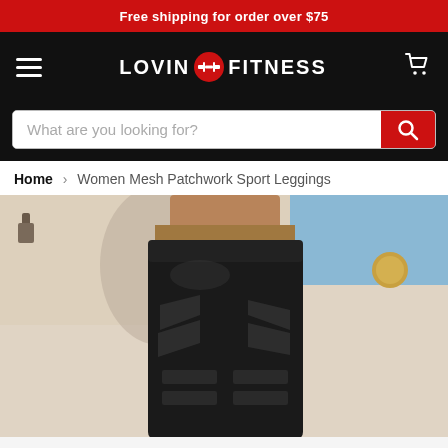Free shipping for order over $75
[Figure (logo): Lovin Fitness logo with red dumbbell icon on black background, with hamburger menu and cart icon]
What are you looking for?
Home > Women Mesh Patchwork Sport Leggings
[Figure (photo): Woman wearing black mesh patchwork sport leggings with sheer diagonal stripe panels on the thighs and lower legs, photographed against a light beige and blue sky background]